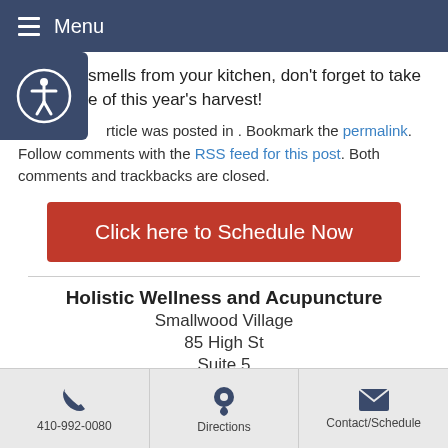Menu
aromatic smells from your kitchen, don't forget to take advantage of this year's harvest!
This article was posted in . Bookmark the permalink. Follow comments with the RSS feed for this post. Both comments and trackbacks are closed.
Click here to Schedule Now
Holistic Wellness and Acupuncture
Smallwood Village
85 High St
Suite 5
410-992-0080 | Directions | Contact/Schedule